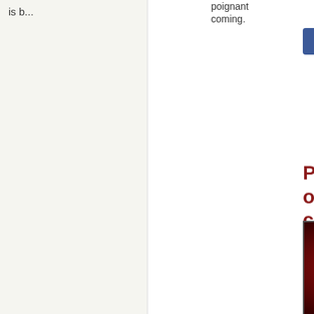is b...
poignant coming.
romant...
[Figure (screenshot): Social media share buttons: Facebook (blue), Twitter (light blue), Pinterest (red), Share (grey)]
Phone Pirate: A outrageous true cr
[Figure (photo): Book cover for 'Phone Pirate: A Cautionary Tale' on a dark red textured background. Text reads 'inspired by a true story' at top in italic, 'PHONE PIRATE' in large yellow bold letters, 'A CAUTIONARY TALE' in white lettering, and a man's face with aviator sunglasses pushed up on his head looking intensely at the camera.]